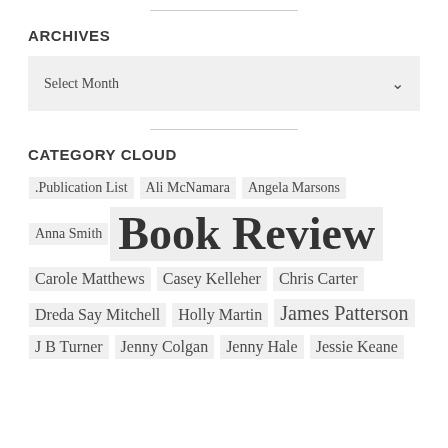ARCHIVES
Select Month
CATEGORY CLOUD
.Publication List
Ali McNamara
Angela Marsons
Anna Smith
Book Review
Carole Matthews
Casey Kelleher
Chris Carter
Dreda Say Mitchell
Holly Martin
James Patterson
J B Turner
Jenny Colgan
Jenny Hale
Jessie Keane